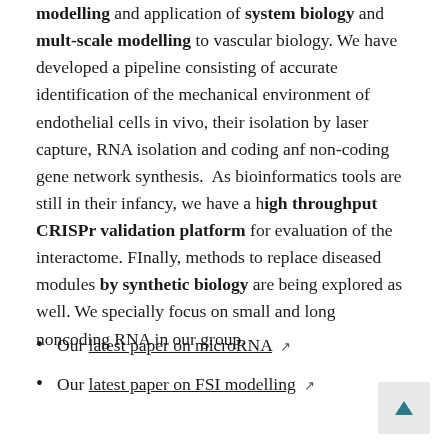modelling and application of system biology and mult-scale modelling to vascular biology. We have developed a pipeline consisting of accurate identification of the mechanical environment of endothelial cells in vivo, their isolation by laser capture, RNA isolation and coding anf non-coding gene network synthesis. As bioinformatics tools are still in their infancy, we have a high throughput CRISPr validation platform for evaluation of the interactome. FInally, methods to replace diseased modules by synthetic biology are being explored as well. We specially focus on small and long noncoding RNA in our group.
Our latest paper on microRNA ↗
Our latest paper on FSI modelling ↗